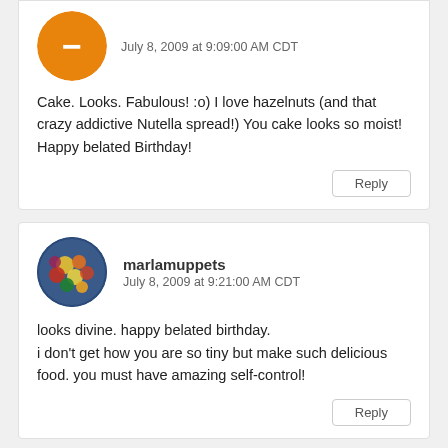July 8, 2009 at 9:09:00 AM CDT
Cake. Looks. Fabulous! :o) I love hazelnuts (and that crazy addictive Nutella spread!) You cake looks so moist! Happy belated Birthday!
Reply
marlamuppets
July 8, 2009 at 9:21:00 AM CDT
looks divine. happy belated birthday.
i don't get how you are so tiny but make such delicious food. you must have amazing self-control!
Reply
Valerie Harrison (bellini)